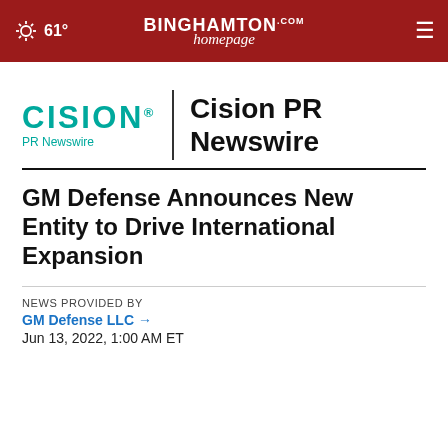61° | BinghamtonHomepage.com
[Figure (logo): Cision PR Newswire logo with teal CISION text and PR Newswire subtitle, vertical divider, and bold black 'Cision PR Newswire' text]
GM Defense Announces New Entity to Drive International Expansion
NEWS PROVIDED BY
GM Defense LLC →
Jun 13, 2022, 1:00 AM ET